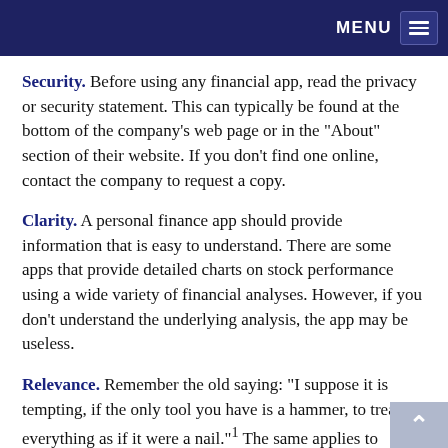MENU
Security. Before using any financial app, read the privacy or security statement. This can typically be found at the bottom of the company’s web page or in the “About” section of their website. If you don’t find one online, contact the company to request a copy.
Clarity. A personal finance app should provide information that is easy to understand. There are some apps that provide detailed charts on stock performance using a wide variety of financial analyses. However, if you don’t understand the underlying analysis, the app may be useless.
Relevance. Remember the old saying: “I suppose it is tempting, if the only tool you have is a hammer, to treat everything as if it were a nail.”¹ The same applies to financial information. A mutual fund company may be a great source of information about investing concepts, but it may be less useful at providing information about tax management.